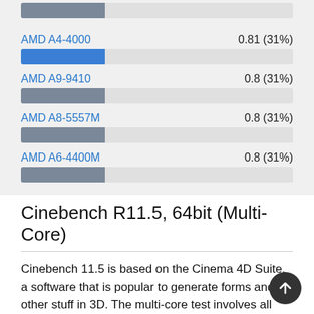[Figure (bar-chart): CPU Benchmark Comparison (partial)]
Cinebench R11.5, 64bit (Multi-Core)
Cinebench 11.5 is based on the Cinema 4D Suite, a software that is popular to generate forms and other stuff in 3D. The multi-core test involves all CPU cores and taks a big advantage of hyperthreading.